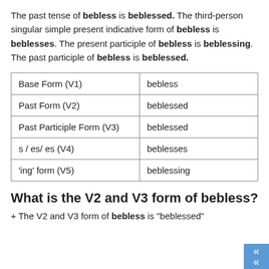The past tense of bebless is beblessed. The third-person singular simple present indicative form of bebless is beblesses. The present participle of bebless is beblessing. The past participle of bebless is beblessed.
| Base Form (V1) | bebless |
| Past Form (V2) | beblessed |
| Past Participle Form (V3) | beblessed |
| s / es/ es (V4) | beblesses |
| 'ing' form (V5) | beblessing |
What is the V2 and V3 form of bebless?
+ The V2 and V3 form of bebless is "beblessed"